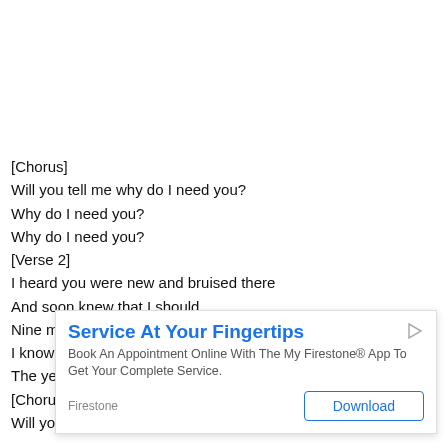[Chorus]
Will you tell me why do I need you?
Why do I need you?
Why do I need you?
[Verse 2]
I heard you were new and bruised there
And soon knew that I should
Nine mustangs through the roof said and told me that I could
I know
The ye
[Choru
Will you tell me why do I need you?
[Figure (other): Advertisement overlay: Service At Your Fingertips - Book An Appointment Online With The My Firestone® App To Get Your Complete Service. Source: Firestone. Download button.]